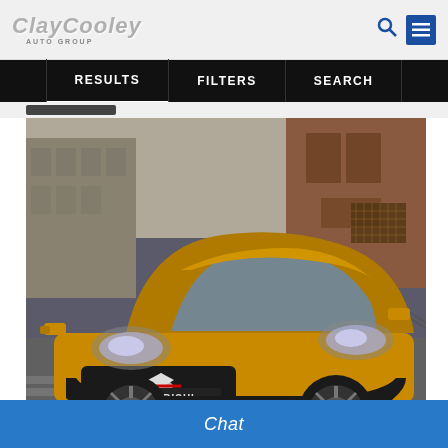[Figure (logo): Clay Cooley Auto Group logo with stylized silver italic text and 'AUTO GROUP' subtitle]
RESULTS   FILTERS   SEARCH
[Figure (photo): Gold/yellow Mitsubishi compact hatchback car parked on a street with European-style buildings in the background. The front grille shows the Mitsubishi diamond logo and 'MITSUBISHI' license plate area.]
Compare
Chat